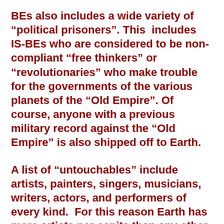BEs also includes a wide variety of “political prisoners”. This includes IS-BEs who are considered to be non-compliant “free thinkers” or “revolutionaries” who make trouble for the governments of the various planets of the “Old Empire”. Of course, anyone with a previous military record against the “Old Empire” is also shipped off to Earth.
A list of “untouchables” include artists, painters, singers, musicians, writers, actors, and performers of every kind. For this reason Earth has more artists per capita than any other planet in the “Old Empire”.
“Untouchables” also include intellectuals